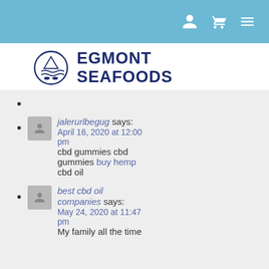Navigation bar with user, cart, and menu icons
[Figure (logo): Egmont Seafoods logo: circular emblem with fish and waves, beside bold text EGMONT SEAFOODS]
(empty bullet)
jalerurlbegug says: April 16, 2020 at 12:00 pm
cbd gummies cbd gummies buy hemp cbd oil
best cbd oil companies says: May 24, 2020 at 11:47 pm
My family all the time